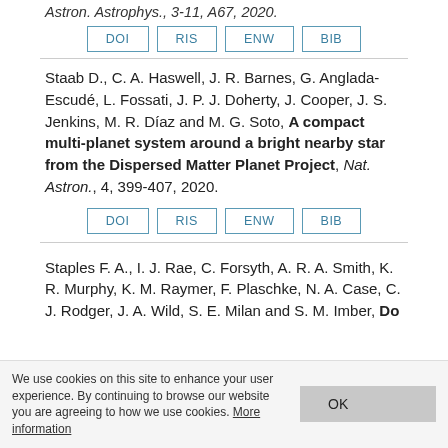Astron. Astrophys., 3-11, A67, 2020.
DOI | RIS | ENW | BIB
Staab D., C. A. Haswell, J. R. Barnes, G. Anglada-Escudé, L. Fossati, J. P. J. Doherty, J. Cooper, J. S. Jenkins, M. R. Díaz and M. G. Soto, A compact multi-planet system around a bright nearby star from the Dispersed Matter Planet Project, Nat. Astron., 4, 399-407, 2020.
DOI | RIS | ENW | BIB
Staples F. A., I. J. Rae, C. Forsyth, A. R. A. Smith, K. R. Murphy, K. M. Raymer, F. Plaschke, N. A. Case, C. J. Rodger, J. A. Wild, S. E. Milan and S. M. Imber, Do
We use cookies on this site to enhance your user experience. By continuing to browse our website you are agreeing to how we use cookies. More information